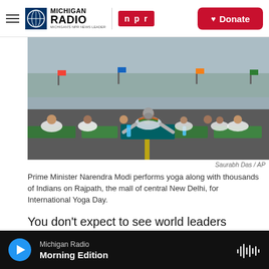Michigan Radio | NPR | Donate
[Figure (photo): Prime Minister Narendra Modi performing yoga (plank/cobra pose) on the ground alongside thousands of people in white clothing, on Rajpath in New Delhi, for International Yoga Day.]
Saurabh Das / AP
Prime Minister Narendra Modi performs yoga along with thousands of Indians on Rajpath, the mall of central New Delhi, for International Yoga Day.
You don't expect to see world leaders getting down on all fours to perform yoga in public, let alone in a mass yoga class that draws observers from
Michigan Radio — Morning Edition